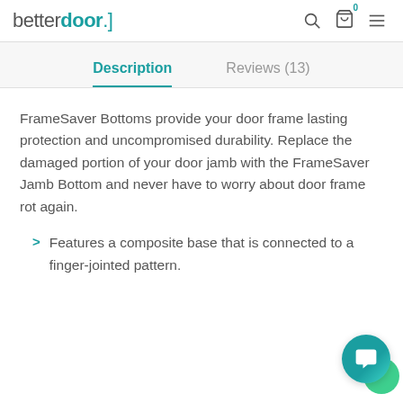betterdoor.
Description
Reviews (13)
FrameSaver Bottoms provide your door frame lasting protection and uncompromised durability. Replace the damaged portion of your door jamb with the FrameSaver Jamb Bottom and never have to worry about door frame rot again.
Features a composite base that is connected to a finger-jointed pattern.